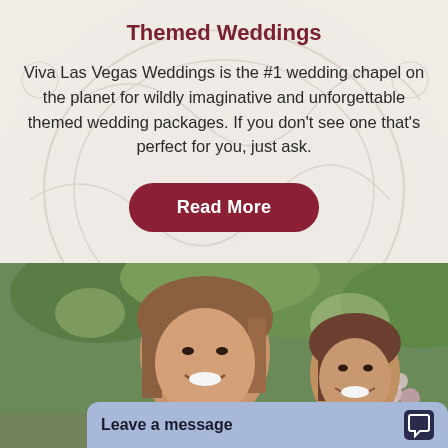Themed Weddings
Viva Las Vegas Weddings is the #1 wedding chapel on the planet for wildly imaginative and unforgettable themed wedding packages. If you don't see one that's perfect for you, just ask.
Read More
[Figure (photo): Two women smiling outdoors at what appears to be a wedding setting with greenery and flowers in the background.]
Leave a message